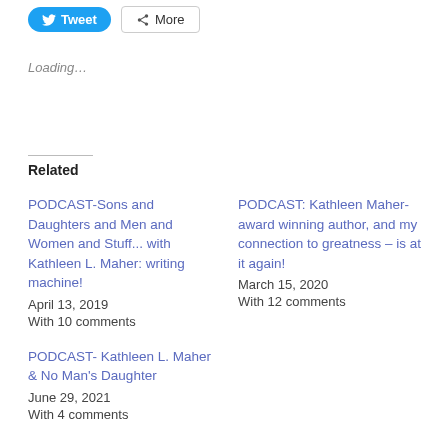[Figure (other): Tweet button (blue rounded) and More button (outlined) share/social buttons at the top]
Loading…
Related
PODCAST-Sons and Daughters and Men and Women and Stuff... with Kathleen L. Maher: writing machine!
April 13, 2019
With 10 comments
PODCAST: Kathleen Maher- award winning author, and my connection to greatness – is at it again!
March 15, 2020
With 12 comments
PODCAST- Kathleen L. Maher & No Man's Daughter
June 29, 2021
With 4 comments